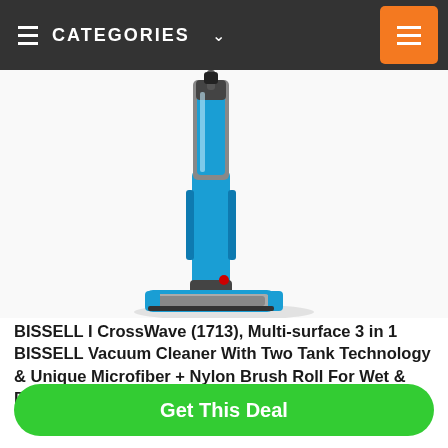CATEGORIES
[Figure (photo): BISSELL CrossWave vacuum cleaner with blue and silver design, showing the upright handle and wide cleaning base with brush roll, photographed on a white background.]
BISSELL I CrossWave (1713), Multi-surface 3 in 1 BISSELL Vacuum Cleaner With Two Tank Technology & Unique Microfiber + Nylon Brush Roll For Wet & Dry Floor Cleaning and Digital Touch Control 2000
NW 1776 Mini Underwear Washing Machine, Portable Travel
Get This Deal